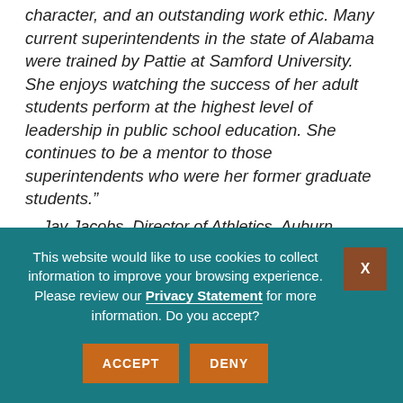character, and an outstanding work ethic. Many current superintendents in the state of Alabama were trained by Pattie at Samford University. She enjoys watching the success of her adult students perform at the highest level of leadership in public school education. She continues to be a mentor to those superintendents who were her former graduate students."
— Jay Jacobs, Director of Athletics, Auburn University
OUTSTANDING EDUCATOR AWARD
This website would like to use cookies to collect information to improve your browsing experience. Please review our Privacy Statement for more information. Do you accept?